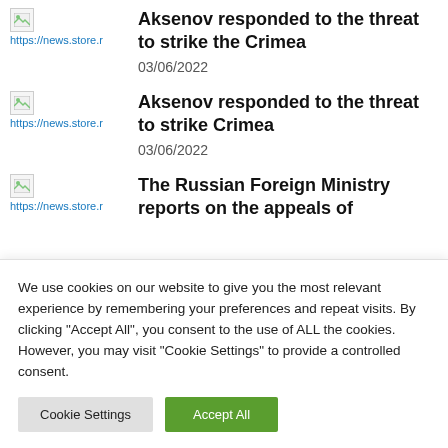Aksenov responded to the threat to strike the Crimea — 03/06/2022 — https://news.store.r
Aksenov responded to the threat to strike Crimea — 03/06/2022 — https://news.store.r
The Russian Foreign Ministry reports on the appeals of — https://news.store.r
We use cookies on our website to give you the most relevant experience by remembering your preferences and repeat visits. By clicking "Accept All", you consent to the use of ALL the cookies. However, you may visit "Cookie Settings" to provide a controlled consent.